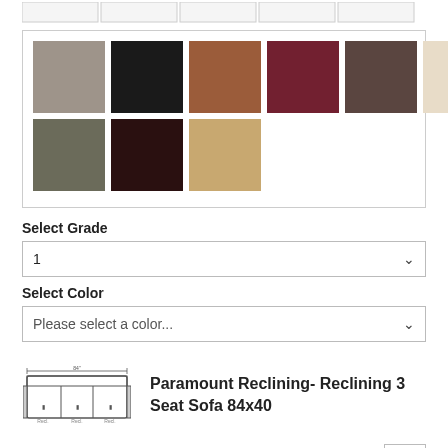[Figure (other): Partial tab strip showing 5 partially visible navigation/filter tabs at top of page]
[Figure (other): Grid of 11 colored fabric/material swatches: row 1: taupe/gray, black, medium brown, dark red/burgundy, dark brown/mocha, cream/beige, near-black, rust/terra cotta; row 2: dark gray/olive, very dark brown/espresso, tan/camel]
Select Grade
1
Select Color
Please select a color...
[Figure (schematic): Line drawing/floor plan diagram of a 3-seat reclining sofa (top-down view), showing seat divisions and dimensions]
Paramount Reclining- Reclining 3 Seat Sofa 84x40
Price: $3,531.00
Quantity: 0